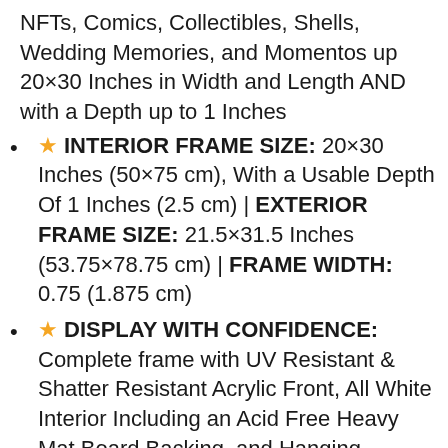NFTs, Comics, Collectibles, Shells, Wedding Memories, and Momentos up 20×30 Inches in Width and Length AND with a Depth up to 1 Inches
★ INTERIOR FRAME SIZE: 20×30 Inches (50×75 cm), With a Usable Depth Of 1 Inches (2.5 cm) | EXTERIOR FRAME SIZE: 21.5×31.5 Inches (53.75×78.75 cm) | FRAME WIDTH: 0.75 (1.875 cm)
★ DISPLAY WITH CONFIDENCE: Complete frame with UV Resistant & Shatter Resistant Acrylic Front, All White Interior Including an Acid Free Heavy Mat Board Backing, and Hanging Hardware. | WALL HANGERS INCLUDED: Frame can be displayed vertically or horizontally. PROUDLY